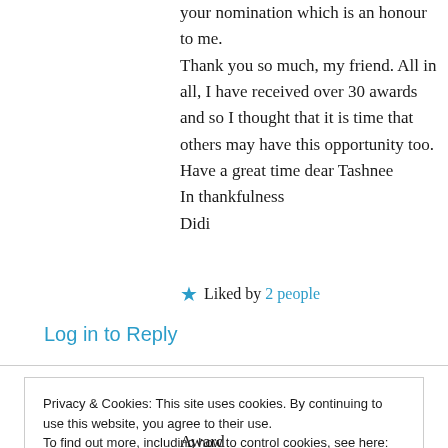your nomination which is an honour to me. Thank you so much, my friend. All in all, I have received over 30 awards and so I thought that it is time that others may have this opportunity too. Have a great time dear Tashnee
In thankfulness
Didi
★ Liked by 2 people
Log in to Reply
Privacy & Cookies: This site uses cookies. By continuing to use this website, you agree to their use.
To find out more, including how to control cookies, see here: Cookie Policy
Close and accept
Award